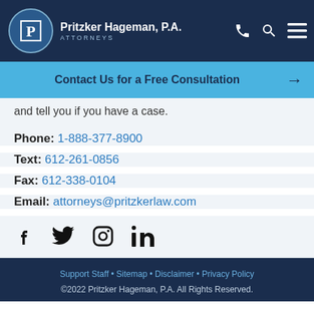Pritzker Hageman, P.A. ATTORNEYS
Contact Us for a Free Consultation →
and tell you if you have a case.
Phone: 1-888-377-8900
Text: 612-261-0856
Fax: 612-338-0104
Email: attorneys@pritzkerlaw.com
[Figure (infographic): Social media icons: Facebook, Twitter, Instagram, LinkedIn]
Support Staff • Sitemap • Disclaimer • Privacy Policy
©2022 Pritzker Hageman, P.A. All Rights Reserved.